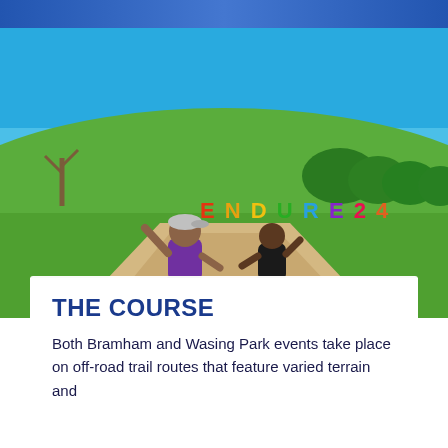[Figure (photo): Two runners on a sandy trail path in front of a green grassy hill with colourful ENDURE24 letters and trees in the background under a bright blue sky. The runner in front wears a purple vest and black shorts, raising one arm. The runner behind wears a black tank top and grey shorts.]
THE COURSE
Both Bramham and Wasing Park events take place on off-road trail routes that feature varied terrain and